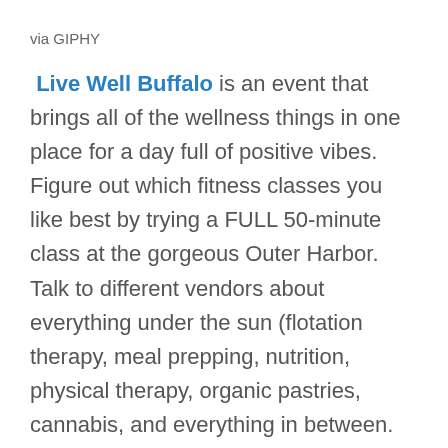via GIPHY
Live Well Buffalo is an event that brings all of the wellness things in one place for a day full of positive vibes. Figure out which fitness classes you like best by trying a FULL 50-minute class at the gorgeous Outer Harbor. Talk to different vendors about everything under the sun (flotation therapy, meal prepping, nutrition, physical therapy, organic pastries, cannabis, and everything in between. Sit in on a Tent Talk (like a Ted